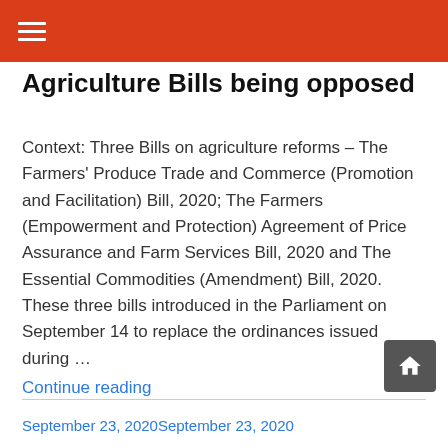≡
Agriculture Bills being opposed
Context: Three Bills on agriculture reforms – The Farmers' Produce Trade and Commerce (Promotion and Facilitation) Bill, 2020; The Farmers (Empowerment and Protection) Agreement of Price Assurance and Farm Services Bill, 2020 and The Essential Commodities (Amendment) Bill, 2020. These three bills introduced in the Parliament on September 14 to replace the ordinances issued during …
Continue reading
September 23, 2020September 23, 2020